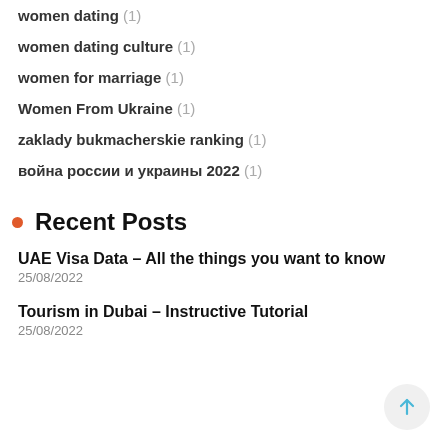women dating (1)
women dating culture (1)
women for marriage (1)
Women From Ukraine (1)
zaklady bukmacherskie ranking (1)
война россии и украины 2022 (1)
Recent Posts
UAE Visa Data – All the things you want to know
25/08/2022
Tourism in Dubai – Instructive Tutorial
25/08/2022